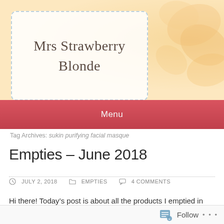Mrs Strawberry Blonde
Menu
Tag Archives: sukin purifying facial masque
Empties – June 2018
JULY 2, 2018  EMPTIES  4 COMMENTS
Hi there! Today's post is about all the products I emptied in June. I used a number of single use face masks, but I didn't keep the empty sachets